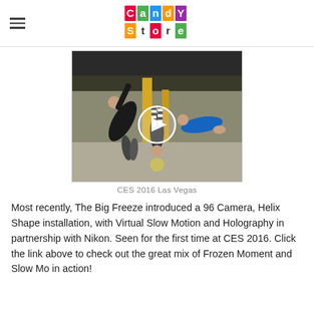Candy Store (logo)
[Figure (photo): Two acrobats performing backflips in an indoor gym/arena with yellow pillars and locker room background; a play button overlay indicates this is a video thumbnail. CES 2016 Las Vegas.]
CES 2016 Las Vegas
Most recently, The Big Freeze introduced a 96 Camera, Helix Shape installation, with Virtual Slow Motion and Holography in partnership with Nikon. Seen for the first time at CES 2016. Click the link above to check out the great mix of Frozen Moment and Slow Mo in action!